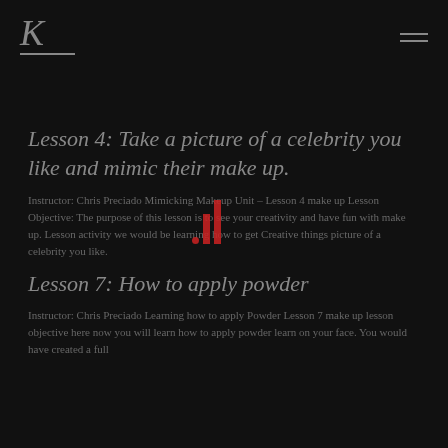K (logo)
Lesson 4: Take a picture of a celebrity you like and mimic their make up.
Instructor: Chris Preciado Mimicking Makeup Unit – Lesson 4 make up Lesson Objective: The purpose of this lesson is to see your creativity and have fun with make up. Lesson activity we would be learning how to get Creative things picture of a celebrity you like.
Lesson 7: How to apply powder
Instructor: Chris Preciado Learning how to apply Powder Lesson 7 make up lesson objective here now you will learn how to apply powder learn on your face. You would have created a full